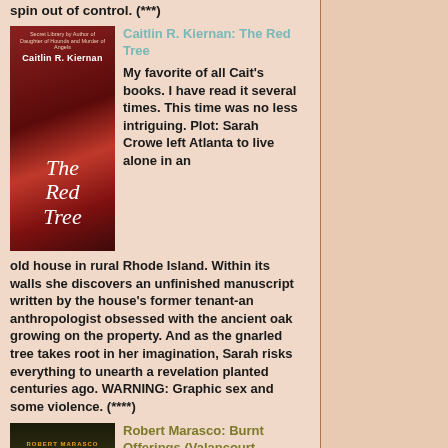spin out of control. (***)
[Figure (illustration): Book cover of 'The Red Tree' by Caitlin R. Kiernan, featuring a dark-haired woman in black against a red-leafed tree background]
Caitlin R. Kiernan: The Red Tree
My favorite of all Cait's books. I have read it several times. This time was no less intriguing. Plot: Sarah Crowe left Atlanta to live alone in an old house in rural Rhode Island. Within its walls she discovers an unfinished manuscript written by the house's former tenant-an anthropologist obsessed with the ancient oak growing on the property. And as the gnarled tree takes root in her imagination, Sarah risks everything to unearth a revelation planted centuries ago. WARNING: Graphic sex and some violence. (****)
[Figure (illustration): Book cover of 'Burnt Offerings' by Robert Marasco, with orange and dark styling]
Robert Marasco: Burnt Offerings (Valancourt